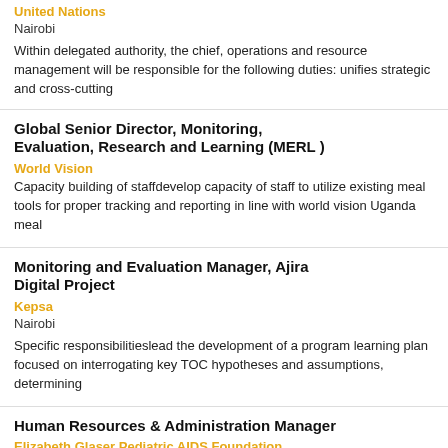United Nations
Nairobi
Within delegated authority, the chief, operations and resource management will be responsible for the following duties: unifies strategic and cross-cutting
Global Senior Director, Monitoring, Evaluation, Research and Learning (MERL )
World Vision
Capacity building of staffdevelop capacity of staff to utilize existing meal tools for proper tracking and reporting in line with world vision Uganda meal
Monitoring and Evaluation Manager, Ajira Digital Project
Kepsa
Nairobi
Specific responsibilitieslead the development of a program learning plan focused on interrogating key TOC hypotheses and assumptions, determining
Human Resources & Administration Manager
Elizabeth Glaser Pediatric AIDS Foundation
Nairobi
Provide leadership and oversee HR operations to ensure strategic initiatives